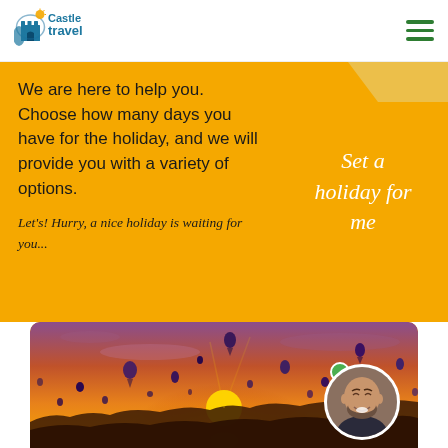[Figure (logo): Castle Travel logo with castle icon and sun graphic, teal and orange colors]
We are here to help you. Choose how many days you have for the holiday, and we will provide you with a variety of options.
Set a holiday for me
Let's! Hurry, a nice holiday is waiting for you...
[Figure (photo): Sunset scene with many hot air balloons floating above rocky landscape, warm orange and purple sky tones. A circular profile photo of a smiling bald bearded man overlaid in the bottom right corner with a green online status dot.]